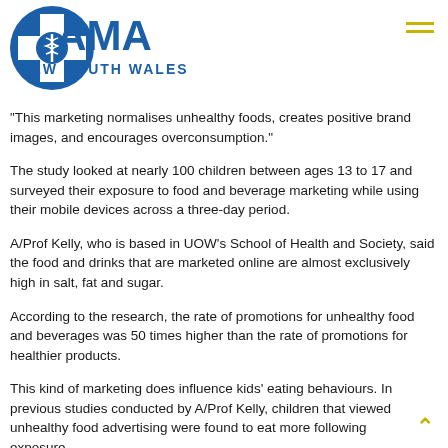[Figure (logo): AMA New South Wales logo with blue cross/medical symbol and blue text]
“This marketing normalises unhealthy foods, creates positive brand images, and encourages overconsumption.”
The study looked at nearly 100 children between ages 13 to 17 and surveyed their exposure to food and beverage marketing while using their mobile devices across a three-day period.
A/Prof Kelly, who is based in UOW’s School of Health and Society, said the food and drinks that are marketed online are almost exclusively high in salt, fat and sugar.
According to the research, the rate of promotions for unhealthy food and beverages was 50 times higher than the rate of promotions for healthier products.
This kind of marketing does influence kids’ eating behaviours. In previous studies conducted by A/Prof Kelly, children that viewed unhealthy food advertising were found to eat more following exposure.